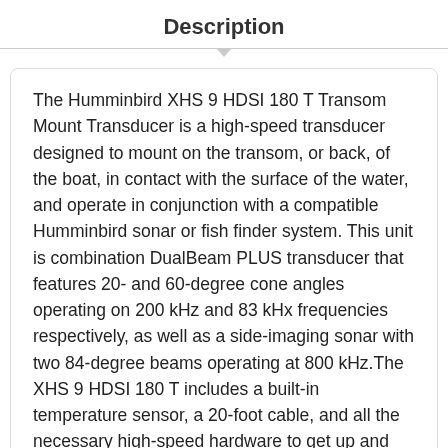Description
The Humminbird XHS 9 HDSI 180 T Transom Mount Transducer is a high-speed transducer designed to mount on the transom, or back, of the boat, in contact with the surface of the water, and operate in conjunction with a compatible Humminbird sonar or fish finder system. This unit is combination DualBeam PLUS transducer that features 20- and 60-degree cone angles operating on 200 kHz and 83 kHz frequencies respectively, as well as a side-imaging sonar with two 84-degree beams operating at 800 kHz.The XHS 9 HDSI 180 T includes a built-in temperature sensor, a 20-foot cable, and all the necessary high-speed hardware to get up and running right away. Although this unit has the same hole...